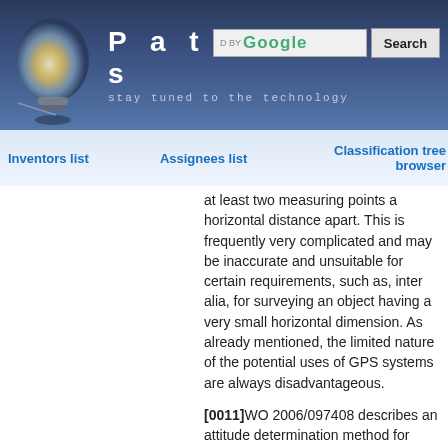[Figure (screenshot): Patentdocs website header with lightbulb logo, site title 'Patentdocs', tagline 'stay tuned to the technology', Google search bar and Search button]
Inventors list   Assignees list   Classification tree browser
at least two measuring points a horizontal distance apart. This is frequently very complicated and may be inaccurate and unsuitable for certain requirements, such as, inter alia, for surveying an object having a very small horizontal dimension. As already mentioned, the limited nature of the potential uses of GPS systems are always disadvantageous.
[0011]WO 2006/097408 describes an attitude determination method for determining position and orientation of a unit. Then, the approach is